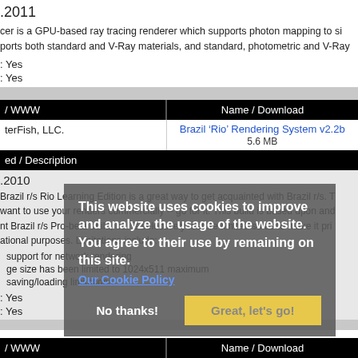.2011
cer is a GPU-based ray tracing renderer which supports photon mapping to si ports both standard and V-Ray materials, and standard, photometric and V-Ray
: Yes
: Yes
| / WWW | Name / Download |
| --- | --- |
| terFish, LLC. | Brazil 'Rio' Rendering System v2.2b
5.6 MB |
ed / Description
.2010
Brazil r/s Rio Learning Edition is a great way to get acquainted with Brazil r/s. T want to use your renders commercially -- go for it. This build is based upon and nt Brazil r/s Pro-beta build, but is selectively feature-limited so as to make it pri ational purposes. Limitations include:
support for network rendering
ge size has been limited to 1024x511 maximum
saving/loading limitations
: Yes
: Yes
| / WWW | Name / Download |
| --- | --- |
This website uses cookies to improve and analyze the usage of the website. You agree to their use by remaining on this site.
Our Cookie Policy
No thanks!
Great, let's go!